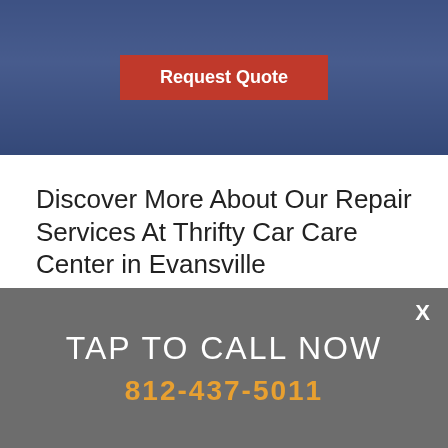[Figure (photo): Banner image of a car care center / parking area with blue overlay tint and a red 'Request Quote' button in the center]
Discover More About Our Repair Services At Thrifty Car Care Center in Evansville
ASK THE MECHANIC
AUTO ELECTRICAL REPAIR & MAINTENANCE
BRAKE WORK
TAP TO CALL NOW
812-437-5011